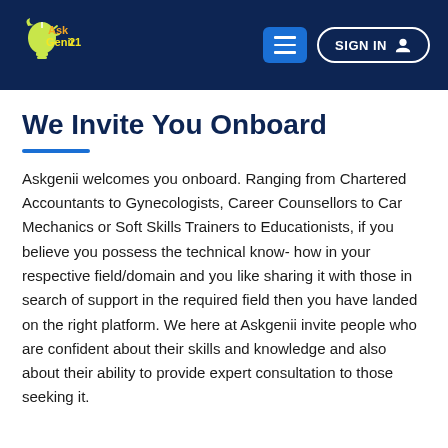[Figure (logo): AskGenii21 logo with lightbulb graphic in yellow/green and text 'Ask Genii21' in orange and yellow on dark blue header background]
AskGenii21 — navigation header with menu button and SIGN IN button
We Invite You Onboard
Askgenii welcomes you onboard. Ranging from Chartered Accountants to Gynecologists, Career Counsellors to Car Mechanics or Soft Skills Trainers to Educationists, if you believe you possess the technical know- how in your respective field/domain and you like sharing it with those in search of support in the required field then you have landed on the right platform. We here at Askgenii invite people who are confident about their skills and knowledge and also about their ability to provide expert consultation to those seeking it.